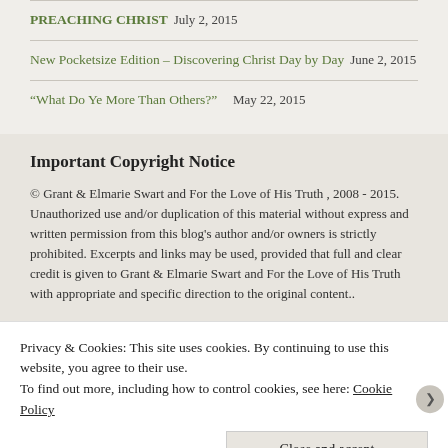PREACHING CHRIST July 2, 2015
New Pocketsize Edition – Discovering Christ Day by Day June 2, 2015
“What Do Ye More Than Others?”   May 22, 2015
Important Copyright Notice
© Grant & Elmarie Swart and For the Love of His Truth , 2008 - 2015. Unauthorized use and/or duplication of this material without express and written permission from this blog’s author and/or owners is strictly prohibited. Excerpts and links may be used, provided that full and clear credit is given to Grant & Elmarie Swart and For the Love of His Truth with appropriate and specific direction to the original content..
Privacy & Cookies: This site uses cookies. By continuing to use this website, you agree to their use.
To find out more, including how to control cookies, see here: Cookie Policy